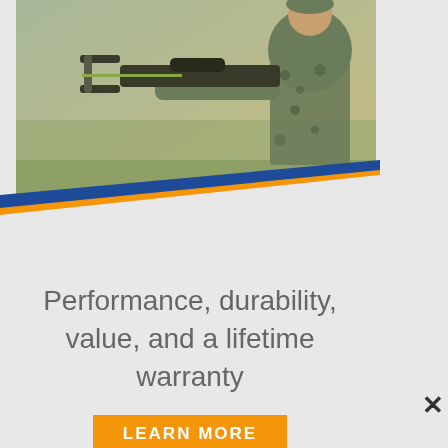[Figure (photo): Advertisement showing a man in camouflage gear aiming a crossbow outdoors in a field. The crossbow is detailed with camo pattern. Below the photo is a diagonal blue/orange stripe pattern transitioning to a gray background. Text reads 'Performance, durability, value, and a lifetime warranty' with an orange 'LEARN MORE' button. An X close button is visible at the right edge.]
Performance, durability, value, and a lifetime warranty
LEARN MORE
[Figure (photo): Advertisement for Ripcord Arrow Rest 'Drive Cage' product. Dark background with a red top bar. Large white bold text 'DRIVE CAGE' and the Ripcord Arrow Rest logo in cyan italic. A black arrow rest device is shown on the left. A red 'LEARN MORE' button is on the right. Small ad badge in top right corner.]
DRIVE CAGE
Ripcord Arrow Rest
LEARN MORE